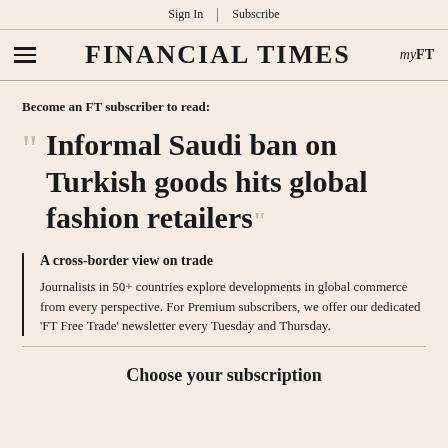Sign In | Subscribe
FINANCIAL TIMES myFT
Become an FT subscriber to read:
Informal Saudi ban on Turkish goods hits global fashion retailers
A cross-border view on trade
Journalists in 50+ countries explore developments in global commerce from every perspective. For Premium subscribers, we offer our dedicated 'FT Free Trade' newsletter every Tuesday and Thursday.
Choose your subscription